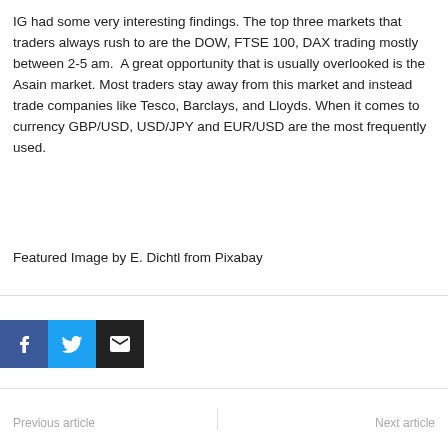IG had some very interesting findings. The top three markets that traders always rush to are the DOW, FTSE 100, DAX trading mostly between 2-5 am.  A great opportunity that is usually overlooked is the Asain market. Most traders stay away from this market and instead trade companies like Tesco, Barclays, and Lloyds. When it comes to currency GBP/USD, USD/JPY and EUR/USD are the most frequently used.
Featured Image by E. Dichtl from Pixabay
[Figure (other): Social share buttons: Facebook (blue), Twitter (light blue), Email (black) with respective icons]
Previous article | Next article